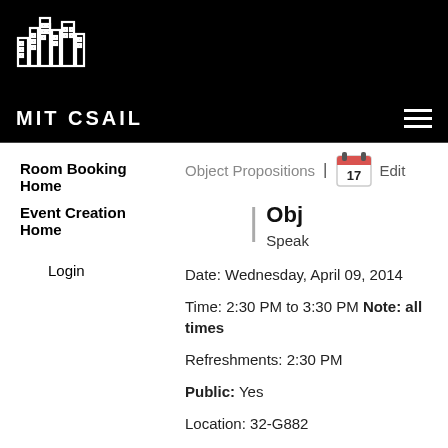[Figure (logo): MIT CSAIL city skyline logo in white outline on black background]
MIT CSAIL
Room Booking Home
Event Creation Home
Login
Object Propositions | Edit
Obj
Speak
Date: Wednesday, April 09, 2014
Time: 2:30 PM to 3:30 PM Note: all times
Refreshments: 2:30 PM
Public: Yes
Location: 32-G882
Event Type:
Room Description:
Host: Adam Chlipala, CSAIL